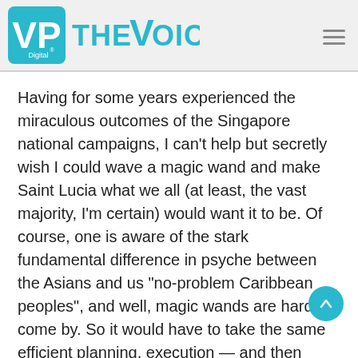VP Digital - THE VOICE
Having for some years experienced the miraculous outcomes of the Singapore national campaigns, I can't help but secretly wish I could wave a magic wand and make Saint Lucia what we all (at least, the vast majority, I'm certain) would want it to be. Of course, one is aware of the stark fundamental difference in psyche between the Asians and us "no-problem Caribbean peoples", and well, magic wands are hard to come by. So it would have to take the same efficient planning, execution — and then some — as obtains in that 238 sq. mile Eastern land.
But right there banging at the door to be let in is the...